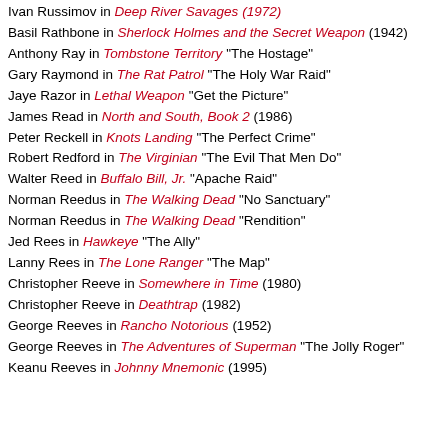Ivan Russimov in Deep River Savages (1972)
Basil Rathbone in Sherlock Holmes and the Secret Weapon (1942)
Anthony Ray in Tombstone Territory "The Hostage"
Gary Raymond in The Rat Patrol "The Holy War Raid"
Jaye Razor in Lethal Weapon "Get the Picture"
James Read in North and South, Book 2 (1986)
Peter Reckell in Knots Landing "The Perfect Crime"
Robert Redford in The Virginian "The Evil That Men Do"
Walter Reed in Buffalo Bill, Jr. "Apache Raid"
Norman Reedus in The Walking Dead "No Sanctuary"
Norman Reedus in The Walking Dead "Rendition"
Jed Rees in Hawkeye "The Ally"
Lanny Rees in The Lone Ranger "The Map"
Christopher Reeve in Somewhere in Time (1980)
Christopher Reeve in Deathtrap (1982)
George Reeves in Rancho Notorious (1952)
George Reeves in The Adventures of Superman "The Jolly Roger"
Keanu Reeves in Johnny Mnemonic (1995)